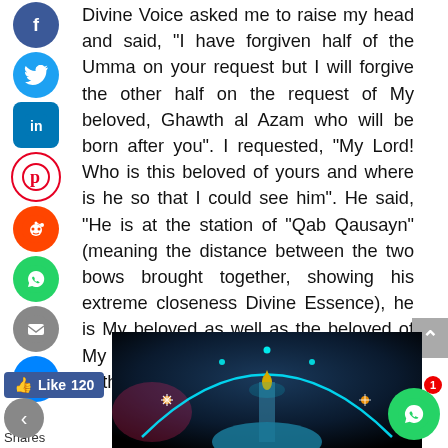Divine Voice asked me to raise my head and said, 'I have forgiven half of the Umma on your request but I will forgive the other half on the request of My beloved, Ghawth al Azam who will be born after you". I requested, “My Lord! Who is this beloved of yours and where is he so that I could see him”. He said, “He is at the station of “Qab Qausayn” (meaning the distance between the two bows brought together, showing his extreme closeness Divine Essence), he is My beloved as well as the beloved of My beloved and he would be the authority on the earth till the Doomsday.”
[Figure (photo): Stylized illustration of a mosque minaret with glowing arc of lights against a dark blue cosmic background]